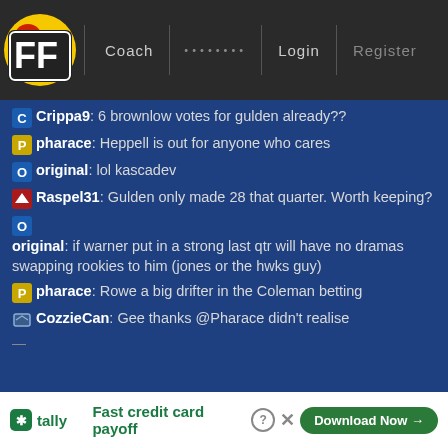FF Coach ........ Login Register
Crippa9: 6 brownlow votes for gulden already??
pharace: Heppell is out for anyone who cares
original: lol kascadev
Raspel31: Gulden only made 28 that quarter. Worth keeping?
original: if warner put in a strong last qtr will have no dramas swapping rookies to him (jones or the hwks guy)
pharace: Rowe a big drifter in the Coleman betting
CozzieCan: Gee thanks @Pharace didn't realise
tally Fast credit card payoff Download Now